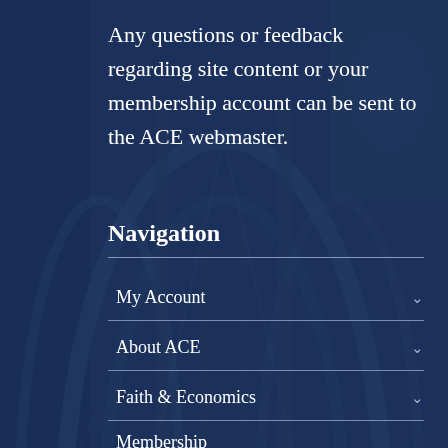Any questions or feedback regarding site content or your membership account can be sent to the ACE webmaster.
Navigation
My Account
About ACE
Faith & Economics
Membership